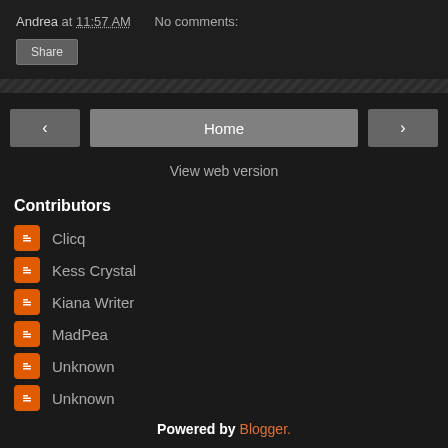Andrea at 11:57 AM   No comments:
Share
‹   Home   ›
View web version
Contributors
Clicq
Kess Crystal
Kiana Writer
MadPea
Unknown
Unknown
Powered by Blogger.